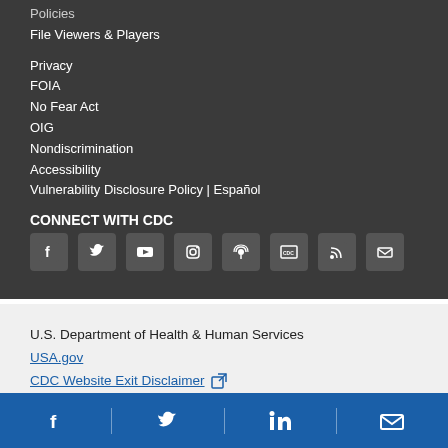Policies
File Viewers & Players
Privacy
FOIA
No Fear Act
OIG
Nondiscrimination
Accessibility
Vulnerability Disclosure Policy | Español
CONNECT WITH CDC
[Figure (infographic): Social media icons: Facebook, Twitter, YouTube, Instagram, podcast, CDC TV, RSS, email]
U.S. Department of Health & Human Services
USA.gov
CDC Website Exit Disclaimer
[Figure (infographic): Blue footer with social media icons: Facebook, Twitter, LinkedIn, Email]